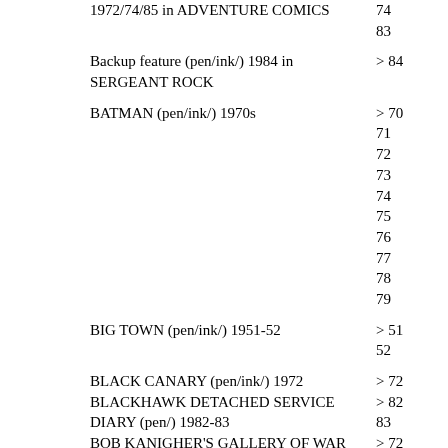1972/74/85 in ADVENTURE COMICS
Backup feature (pen/ink/) 1984 in SERGEANT ROCK
BATMAN (pen/ink/) 1970s
BIG TOWN (pen/ink/) 1951-52
BLACK CANARY (pen/ink/) 1972
BLACKHAWK DETACHED SERVICE DIARY (pen/) 1982-83
BOB KANIGHER'S GALLERY OF WAR (pen/ink/) 1972-73
CHALLENGERS OF THE UNKNOWN (pen/) 1983
Covers (pen/ink/) 1948-49/51-